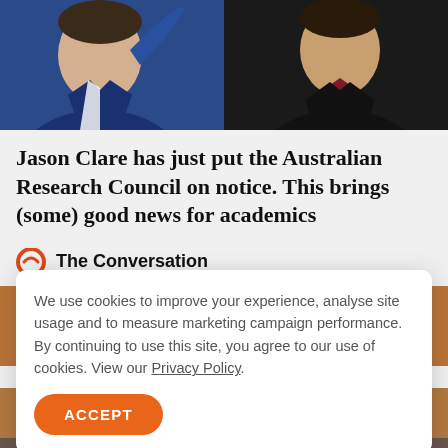[Figure (photo): Two men in suits, one in navy blue jacket and one in black suit with burgundy tie, photographed from the chest up]
Jason Clare has just put the Australian Research Council on notice. This brings (some) good news for academics
The Conversation
[Figure (photo): A woman with red/auburn hair photographed from above, visible in partial frame]
We use cookies to improve your experience, analyse site usage and to measure marketing campaign performance. By continuing to use this site, you agree to our use of cookies. View our Privacy Policy.
ACCEPT
[Figure (photo): Bottom portion of a woman's face and necklace visible at the bottom of the page]